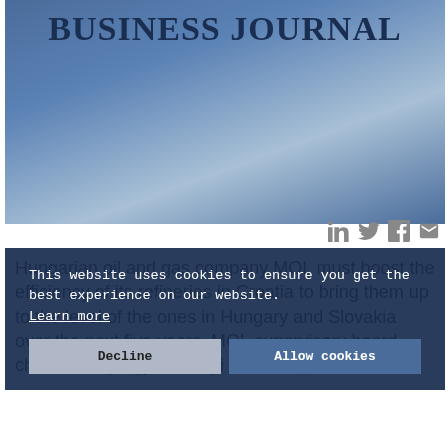[Figure (logo): Business Journal logo over a blue gradient banner image]
[Figure (other): Social sharing icons: LinkedIn, Twitter, Facebook, Email]
Hungarian oil and gas company MOL must boost the efficiency of its refineries in Croatia to bring them up to the level of the ones in Hungary and Slovakia over the next five years, MOL supervisory board chairman György Mosonyi said at a presentation at the Pannon University in Veszprém (NW Hungary) on Wednesday.
This website uses cookies to ensure you get the best experience on our website.
Learn more
Decline
Allow cookies